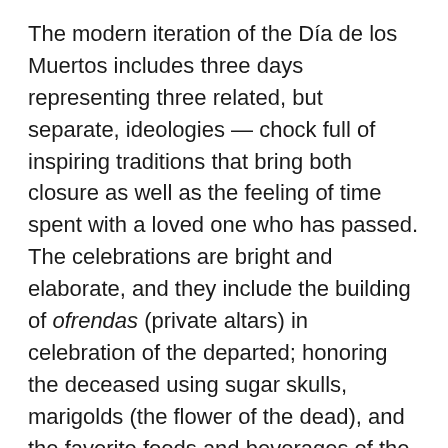The modern iteration of the Día de los Muertos includes three days representing three related, but separate, ideologies — chock full of inspiring traditions that bring both closure as well as the feeling of time spent with a loved one who has passed. The celebrations are bright and elaborate, and they include the building of ofrendas (private altars) in celebration of the departed; honoring the deceased using sugar skulls, marigolds (the flower of the dead), and the favorite foods and beverages of the departed; and bringing gifts and belongings to graves. Other traditions include muertos (the bread of the dead); cardboard skeletons; tissue paper garlands; fruit and nuts; incense; and other traditional foods and decorations. The holiday is now celebrated around the world, and each culture brings their own unique twist to it.
The three days celebrate those who came before us and who have passed on. Death is an integral part of life, and